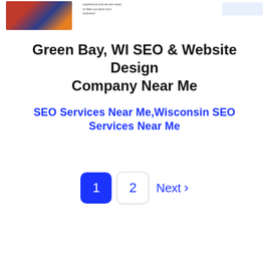[Figure (screenshot): Partial screenshot of a website showing a decorative image on the left (person with red, blue, and orange graphic elements) and text content and a button on the right, cropped at the top of the page.]
Green Bay, WI SEO & Website Design Company Near Me
SEO Services Near Me,Wisconsin SEO Services Near Me
1  2  Next >